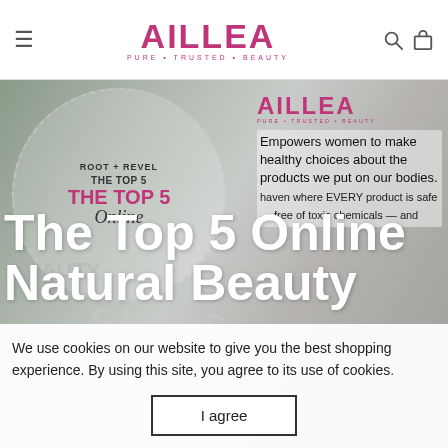AILLEA PURE • TRUSTED • BEAUTY
[Figure (screenshot): Hero image composite: left side shows a beauty blog post graphic for 'ROOT + REVEL THE TOP 5 Online Natural Beauty Stores' in a dashed circle, with cosmetic brushes/tools background. Right side shows Aillea logo overlay and text 'Empowers women to make healthy choices about the products we put on our bodies.' with additional text about being a haven where EVERY product is safe -- free of toxic chemicals -- and more.]
The Top 5 Online Natural Beauty
We use cookies on our website to give you the best shopping experience. By using this site, you agree to its use of cookies.
I agree